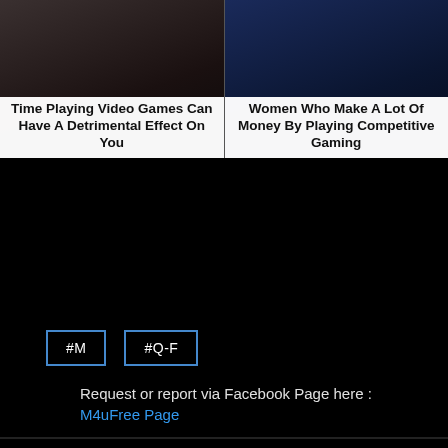[Figure (photo): Left card: dark gaming photo with title overlay 'Time Playing Video Games Can Have A Detrimental Effect On You']
[Figure (photo): Right card: esports/gaming photo with title overlay 'Women Who Make A Lot Of Money By Playing Competitive Gaming']
#M
#Q-F
Request or report via Facebook Page here :
M4uFree Page